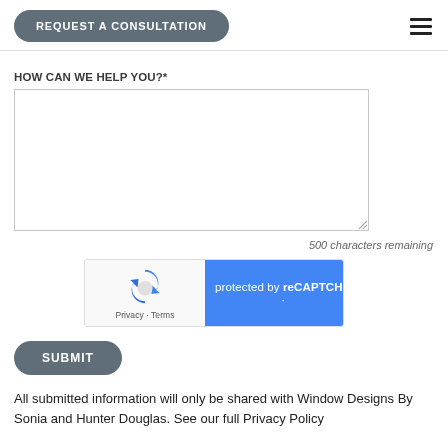REQUEST A CONSULTATION
HOW CAN WE HELP YOU?*
500 characters remaining
[Figure (other): reCAPTCHA widget showing Google reCAPTCHA logo on left with Privacy and Terms links, and blue panel on right reading 'protected by reCAPTCHA']
SUBMIT
All submitted information will only be shared with Window Designs By Sonia and Hunter Douglas. See our full Privacy Policy